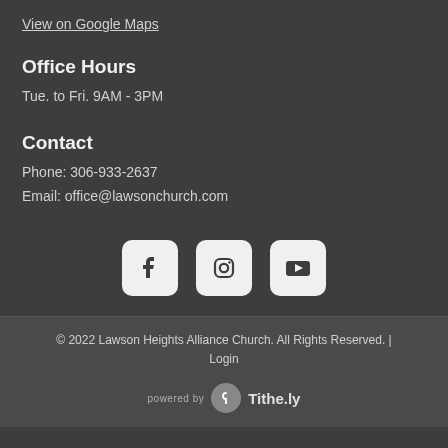View on Google Maps
Office Hours
Tue. to Fri. 9AM - 3PM
Contact
Phone:  306-933-2637
Email:  office@lawsonchurch.com
[Figure (illustration): Row of three social media icons: Facebook, Instagram, YouTube, each in a rounded square]
© 2022 Lawson Heights Alliance Church. All Rights Reserved. | Login
powered by  Tithe.ly